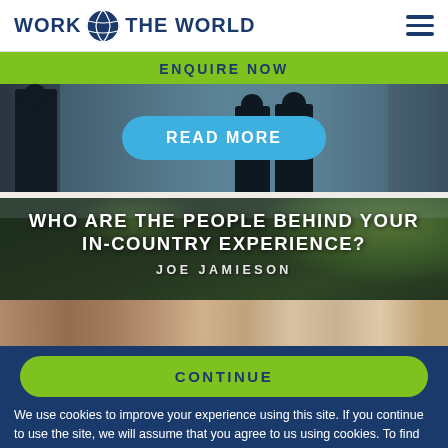[Figure (logo): Work The World logo with globe icon]
ENQUIRE NOW
[Figure (photo): Silhouetted figures in front of glass windows, with a blue READ MORE button overlay]
[Figure (photo): Group of people outdoors with tropical foliage. Text overlay reads: WHO ARE THE PEOPLE BEHIND YOUR IN-COUNTRY EXPERIENCE? JOE JAMIESON]
CONTINUE
We use cookies to improve your experience using this site. If you continue to use the site, we will assume that you agree to us using cookies. To find out more read our cookie policy.